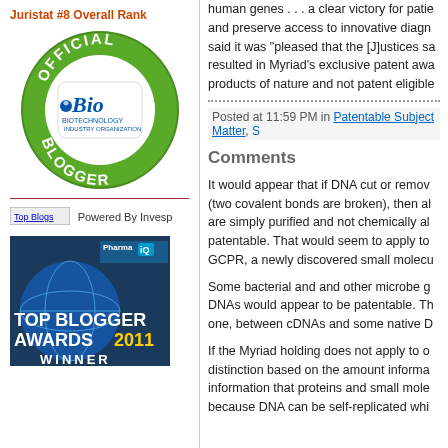Juristat #8 Overall Rank
[Figure (logo): Official Blogger badge with Bio Biotechnology Industry Organization logo — green circular badge]
[Figure (logo): Top Blogs link logo]
Powered By Invesp
[Figure (photo): Top Blogger Awards 2011 Winner banner with Pharma IQ branding]
human genes . . . a clear victory for patients and preserve access to innovative diagn... said it was "pleased that the [J]ustices sa... resulted in Myriad's exclusive patent awa... products of nature and not patent eligible
Posted at 11:59 PM in Patentable Subject Matter, S...
Comments
It would appear that if DNA cut or remov... (two covalent bonds are broken), then al... are simply purified and not chemically al... patentable. That would seem to apply to... GCPR, a newly discovered small molecu...
Some bacterial and and other microbe g... DNAs would appear to be patentable. Th... one, between cDNAs and some native D...
If the Myriad holding does not apply to o... distinction based on the amount informa... information that proteins and small mole... because DNA can be self-replicated whi...